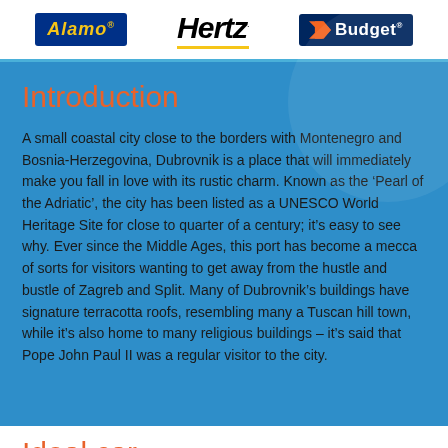[Figure (logo): Alamo car rental logo — blue rectangle with yellow italic text 'Alamo']
[Figure (logo): Hertz car rental logo — bold black italic 'Hertz' with yellow underline]
[Figure (logo): Budget car rental logo — dark blue rectangle with orange/white arrow graphic and white text 'Budget']
Introduction
A small coastal city close to the borders with Montenegro and Bosnia-Herzegovina, Dubrovnik is a place that will immediately make you fall in love with its rustic charm. Known as the ‘Pearl of the Adriatic’, the city has been listed as a UNESCO World Heritage Site for close to quarter of a century; it’s easy to see why. Ever since the Middle Ages, this port has become a mecca of sorts for visitors wanting to get away from the hustle and bustle of Zagreb and Split. Many of Dubrovnik’s buildings have signature terracotta roofs, resembling many a Tuscan hill town, while it’s also home to many religious buildings – it’s said that Pope John Paul II was a regular visitor to the city.
Ideal car